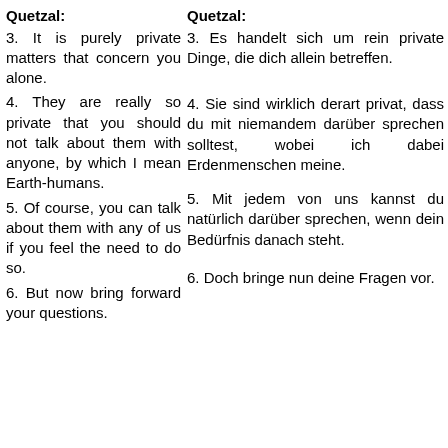Quetzal:
Quetzal:
3. It is purely private matters that concern you alone.
3. Es handelt sich um rein private Dinge, die dich allein betreffen.
4. They are really so private that you should not talk about them with anyone, by which I mean Earth-humans.
4. Sie sind wirklich derart privat, dass du mit niemandem darüber sprechen solltest, wobei ich dabei Erdenmenschen meine.
5. Of course, you can talk about them with any of us if you feel the need to do so.
5. Mit jedem von uns kannst du natürlich darüber sprechen, wenn dein Bedürfnis danach steht.
6. But now bring forward your questions.
6. Doch bringe nun deine Fragen vor.